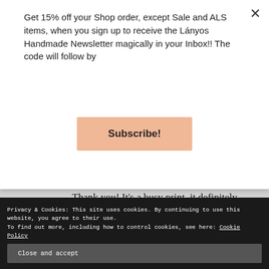Get 15% off your Shop order, except Sale and ALS items, when you sign up to receive the Lányos Handmade Newsletter magically in your Inbox!! The code will follow by
Subscribe!
Thank you! It's a busy print, it definitely needed something. I just know when our rains start we will be wishing for the warmer weather! My sister is headed over
Privacy & Cookies: This site uses cookies. By continuing to use this website, you agree to their use.
To find out more, including how to control cookies, see here: Cookie Policy
Close and accept
Ireland, England nor Scotland so I'm a bit